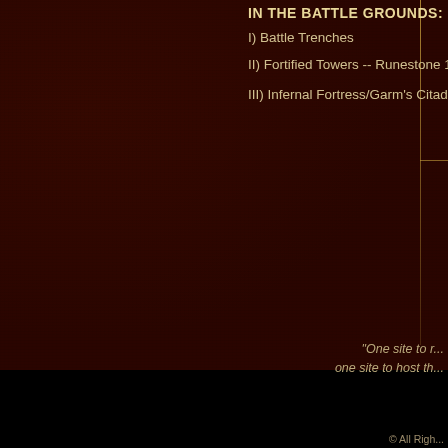IN THE BATTLE GROUNDS:
I) Battle Trenches
II) Fortified Towers -- Runestone 13
III) Infernal Fortress/Garm's Citadel [Boss
"One site to r...
one site to host th...
© All Righ...
Website programming b...
BFME, Battl...
entities asso...